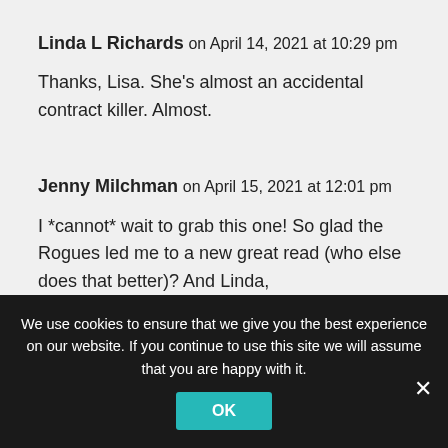Linda L Richards on April 14, 2021 at 10:29 pm
Thanks, Lisa. She's almost an accidental contract killer. Almost.
Jenny Milchman on April 15, 2021 at 12:01 pm
I *cannot* wait to grab this one! So glad the Rogues led me to a new great read (who else does that better)? And Linda,
We use cookies to ensure that we give you the best experience on our website. If you continue to use this site we will assume that you are happy with it.